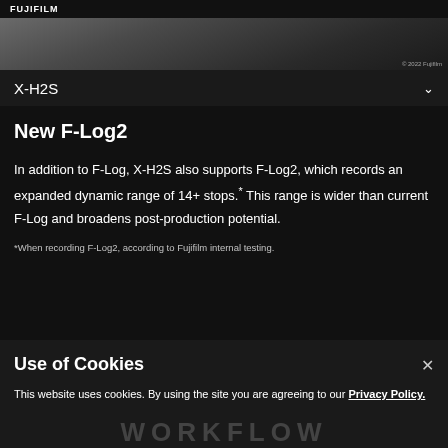FUJIFILM
[Figure (photo): Landscape or scenic photography strip, partial view, dark tones]
X-H2S
New F-Log2
In addition to F-Log, X-H2S also supports F-Log2, which records an expanded dynamic range of 14+ stops.* This range is wider than current F-Log and broadens post-production potential.
*When recording F-Log2, according to Fujifilm internal testing.
Use of Cookies
This website uses cookies. By using the site you are agreeing to our Privacy Policy.